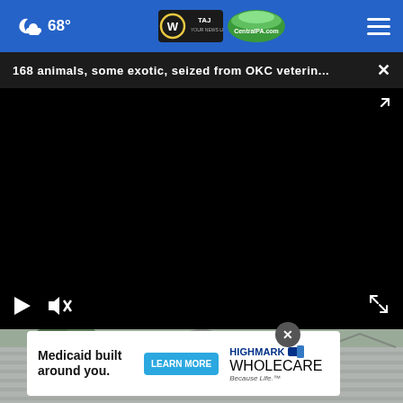68°  WTAJ CentralPA.com
168 animals, some exotic, seized from OKC veterin...
[Figure (screenshot): Black video player area with play and mute controls at bottom left, fullscreen expand icon at bottom right]
[Figure (photo): Rooftop with gray shingles visible in the lower portion of the page]
Medicaid built around you.  LEARN MORE  HIGHMARK WHOLECARE Because Life.